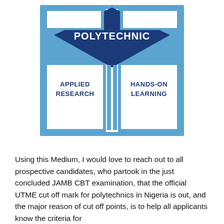[Figure (logo): Polytechnic logo with dark blue diamond shape containing the word POLYTECHNIC in white bold text, flanked by blue rectangular panels with text APPLIED RESEARCH on left and HANDS-ON LEARNING on right, all within a light blue bordered frame.]
Using this Medium, I would love to reach out to all prospective candidates, who partook in the just concluded JAMB CBT examination, that the official UTME cut off mark for polytechnics in Nigeria is out, and the major reason of cut off points, is to help all applicants know the criteria for entering into their preferred institution of choice and to get